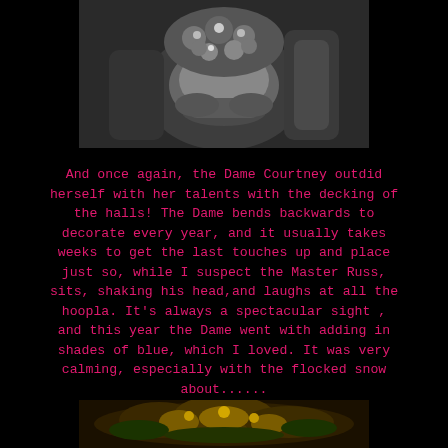[Figure (photo): Black and white photo of a floral arrangement in a decorative vase or bowl, held or placed, with ribbons or fabric visible]
And once again, the Dame Courtney outdid herself with her talents with the decking of the halls! The Dame bends backwards to decorate every year, and it usually takes weeks to get the last touches up and place just so, while I suspect the Master Russ, sits, shaking his head,and laughs at all the hoopla. It's always a spectacular sight , and this year the Dame went with adding in shades of blue, which I loved. It was very calming, especially with the flocked snow about......
[Figure (photo): Partial view of a colorful holiday/Christmas decoration arrangement, warm golden and green tones visible at the bottom of the page]